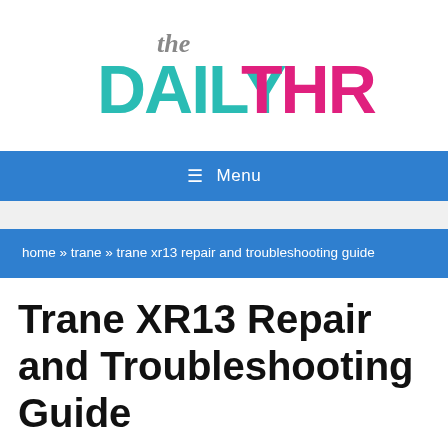[Figure (logo): The Daily Thrive logo: 'the' in gray script above 'DAILY' in teal distressed font and 'THRIVE' in pink/magenta distressed font]
≡  Menu
home » trane » trane xr13 repair and troubleshooting guide
Trane XR13 Repair and Troubleshooting Guide
by Max P...